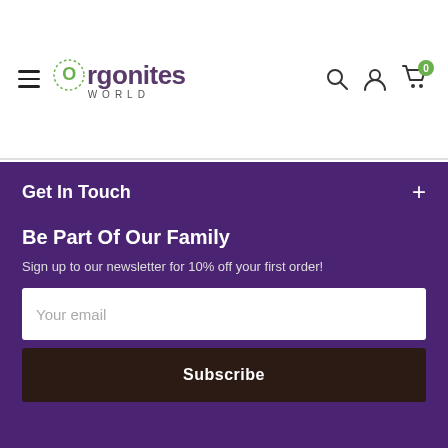[Figure (logo): Orgonites World logo with decorative circular O and text]
Get In Touch
Be Part Of Our Family
Sign up to our newsletter for 10% off your first order!